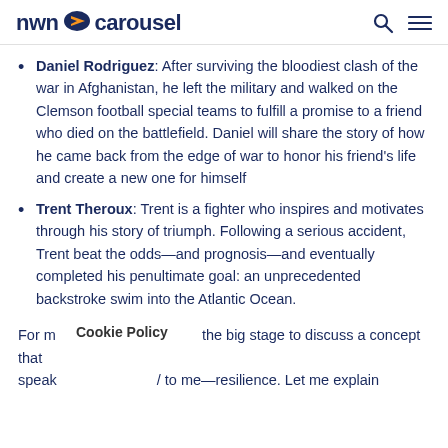nwn carousel
Daniel Rodriguez: After surviving the bloodiest clash of the war in Afghanistan, he left the military and walked on the Clemson football special teams to fulfill a promise to a friend who died on the battlefield. Daniel will share the story of how he came back from the edge of war to honor his friend's life and create a new one for himself
Trent Theroux: Trent is a fighter who inspires and motivates through his story of triumph. Following a serious accident, Trent beat the odds—and prognosis—and eventually completed his penultimate goal: an unprecedented backstroke swim into the Atlantic Ocean.
For m Cookie Policy the big stage to discuss a concept that speak / to me—resilience. Let me explain